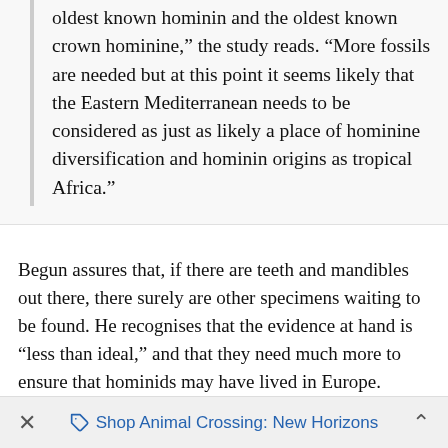fossil evidence, Graecopithecus would be the oldest known hominin and the oldest known crown hominine," the study reads. "More fossils are needed but at this point it seems likely that the Eastern Mediterranean needs to be considered as just as likely a place of hominine diversification and hominin origins as tropical Africa."
Begun assures that, if there are teeth and mandibles out there, there surely are other specimens waiting to be found. He recognises that the evidence at hand is “less than ideal,” and that they need much more to ensure that hominids may have lived in Europe.
Researchers cannot continue to look for fossils at the spot where the Graecopithecus was found because the owner
×   Shop Animal Crossing: New Horizons   ⌃